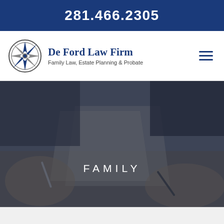281.466.2305
[Figure (logo): De Ford Law Firm logo with compass rose icon, firm name and tagline 'Family Law, Estate Planning & Probate']
[Figure (photo): Background photo of two people signing legal documents at a desk, with dark overlay. Center text reads FAMILY in white spaced letters.]
FAMILY